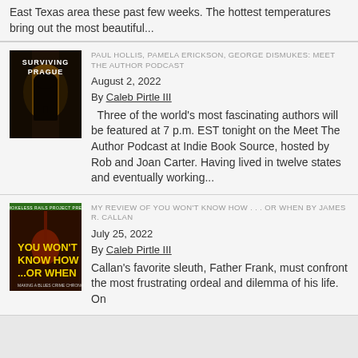East Texas area these past few weeks. The hottest temperatures bring out the most beautiful...
[Figure (illustration): Book cover: Surviving Prague — dark alley/street night scene with golden light]
PAUL HOLLIS, PAMELA ERICKSON, GEORGE DISMUKES: MEET THE AUTHOR PODCAST
August 2, 2022
By Caleb Pirtle III
Three of the world's most fascinating authors will be featured at 7 p.m. EST tonight on the Meet The Author Podcast at Indie Book Source, hosted by Rob and Joan Carter. Having lived in twelve states and eventually working...
[Figure (illustration): Book cover: You Won't Know How ...Or When — guitar image with text, dark background]
MY REVIEW OF YOU WON'T KNOW HOW . . . OR WHEN BY JAMES R. CALLAN
July 25, 2022
By Caleb Pirtle III
Callan's favorite sleuth, Father Frank, must confront the most frustrating ordeal and dilemma of his life. On